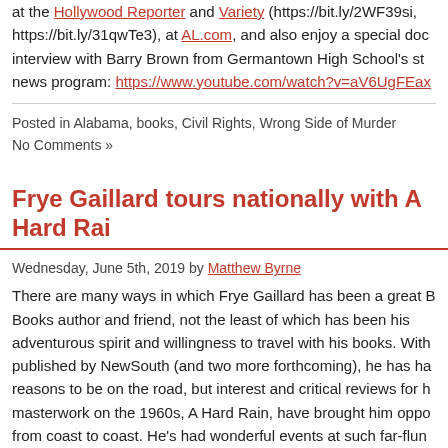at the Hollywood Reporter and Variety (https://bit.ly/2WF39si, https://bit.ly/31qwTe3), at AL.com, and also enjoy a special documentary interview with Barry Brown from Germantown High School's student news program: https://www.youtube.com/watch?v=aV6UgFEax
Posted in Alabama, books, Civil Rights, Wrong Side of Murder Creek | No Comments »
Frye Gaillard tours nationally with A Hard Rai
Wednesday, June 5th, 2019 by Matthew Byrne
There are many ways in which Frye Gaillard has been a great NewSouth Books author and friend, not the least of which has been his adventurous spirit and willingness to travel with his books. With books published by NewSouth (and two more forthcoming), he has had many reasons to be on the road, but interest and critical reviews for his masterwork on the 1960s, A Hard Rain, have brought him opportunities from coast to coast. He's had wonderful events at such far-flung venues as the Ford Hall Forum in Boston, Brown University in Providence, 92nd Street Y in New York City, Newseum in Washington, DC, Carter Presidential Library and ...